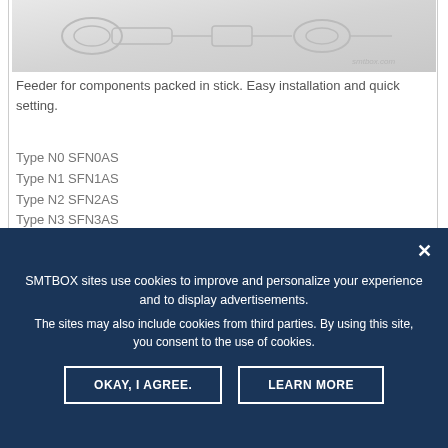[Figure (photo): Photo of feeder components packed in stick, metallic mechanical parts on light background with watermark]
Feeder for components packed in stick. Easy installation and quick setting.
Type N0 SFN0AS
Type N1 SFN1AS
Type N2 SFN2AS
Type N3 SFN3AS
Type N4 SFN4AS
Type W1 SFW1AS
Type W2 SFW2AS
Type W3 SFW3AS
Type W4 SFW4AS
Type W5 SFW5AS
4. AF Feeder
[Figure (photo): Partial photo of AF Feeder with watermark, partially obscured by cookie consent overlay]
SMTBOX sites use cookies to improve and personalize your experience and to display advertisements. The sites may also include cookies from third parties. By using this site, you consent to the use of cookies.
OKAY, I AGREE.
LEARN MORE